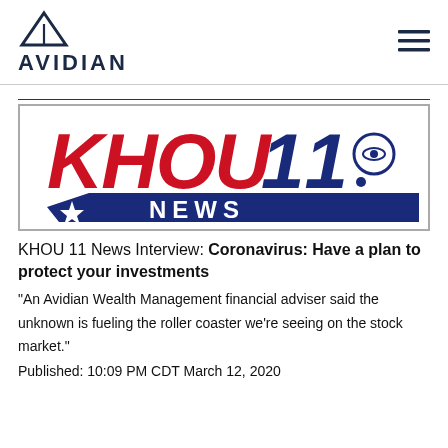AVIDIAN
[Figure (logo): KHOU 11 News logo — blue and red text with CBS eye symbol and star banner]
KHOU 11 News Interview: Coronavirus: Have a plan to protect your investments
“An Avidian Wealth Management financial adviser said the unknown is fueling the roller coaster we’re seeing on the stock market.”
Published: 10:09 PM CDT March 12, 2020